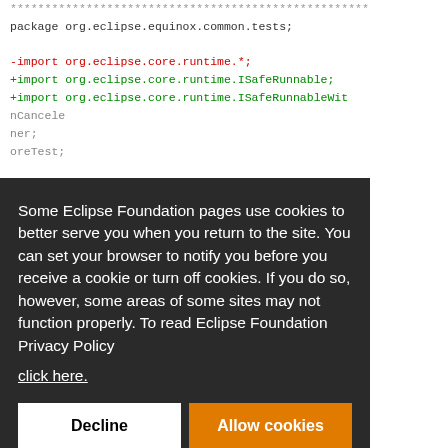[Figure (screenshot): Code diff screenshot showing Java source code with diff markers. Lines include package declaration, import statements with red removed line and green added lines.]
Some Eclipse Foundation pages use cookies to better serve you when you return to the site. You can set your browser to notify you before you receive a cookie or turn off cookies. If you do so, however, some areas of some sites may not function properly. To read Eclipse Foundation Privacy Policy click here.